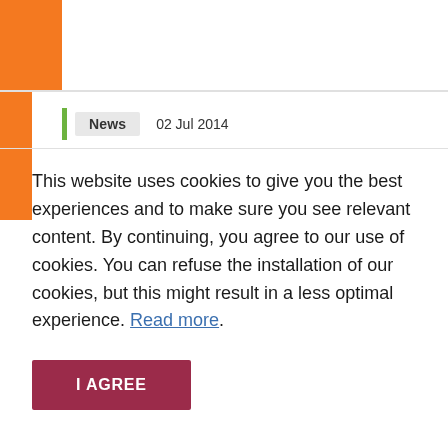News  02 Jul 2014
This website uses cookies to give you the best experiences and to make sure you see relevant content. By continuing, you agree to our use of cookies. You can refuse the installation of our cookies, but this might result in a less optimal experience. Read more.
I AGREE